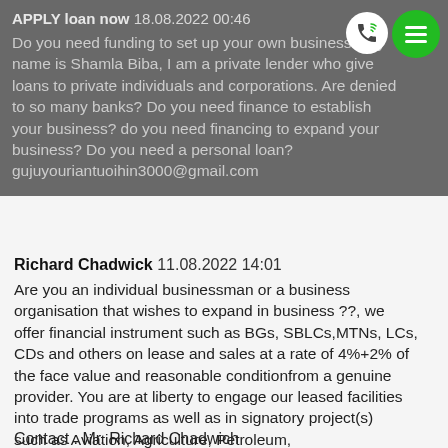APPLY loan now 18.08.2022 00:46
Do you need funding to set up your own business? My name is Shamla Biba, I am a private lender who give loans to private individuals and corporations. Are denied to so many banks? Do you need finance to establish your business? do you need financing to expand your business? Do you need a personal loan?
gujuyouriantuoihin3000@gmail.com
Richard Chadwick 11.08.2022 14:01
Are you an individual businessman or a business organisation that wishes to expand in business ??, we offer financial instrument such as BGs, SBLCs,MTNs, LCs, CDs and others on lease and sales at a rate of 4%+2% of the face value and reasonable conditionfrom a genuine provider. You are at liberty to engage our leased facilities into trade programs as well as in signatory project(s) such as Aviation, Agriculture, Petroleum, Telecommunication and any other project(s) etc.
Contact : Mr. Richard Chadwich